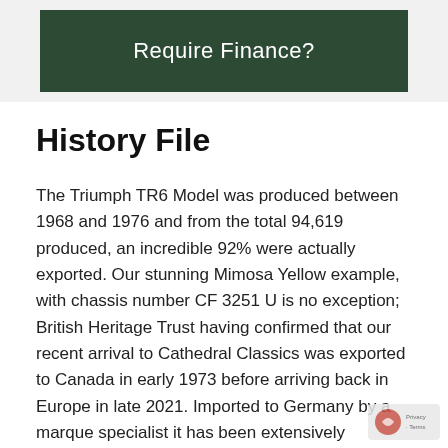Require Finance?
History File
The Triumph TR6 Model was produced between 1968 and 1976 and from the total 94,619 produced, an incredible 92% were actually exported. Our stunning Mimosa Yellow example, with chassis number CF 3251 U is no exception; British Heritage Trust having confirmed that our recent arrival to Cathedral Classics was exported to Canada in early 1973 before arriving back in Europe in late 2021. Imported to Germany by a marque specialist it has been extensively renovated